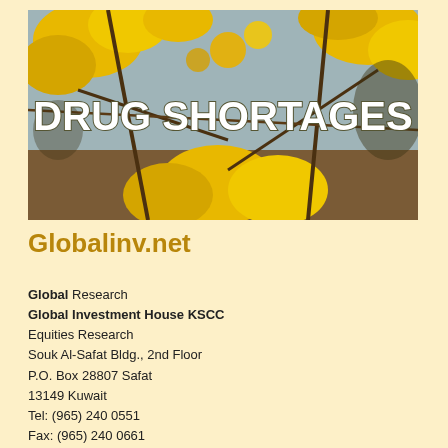[Figure (photo): Photograph of yellow flowers (possibly cassia or similar) on tree branches with a blue sky background. Overlaid bold white text reads 'DRUG SHORTAGES'.]
Globalinv.net
Global Research
Global Investment House KSCC
Equities Research
Souk Al-Safat Bldg., 2nd Floor
P.O. Box 28807 Safat
13149 Kuwait
Tel: (965) 240 0551
Fax: (965) 240 0661
Email: research@global.com.kw
http://www.globalinv.net
Global Investment House stock market indices can